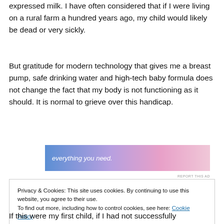expressed milk. I have often considered that if I were living on a rural farm a hundred years ago, my child would likely be dead or very sickly.
But gratitude for modern technology that gives me a breast pump, safe drinking water and high-tech baby formula does not change the fact that my body is not functioning as it should. It is normal to grieve over this handicap.
[Figure (other): Advertisement banner reading 'everything you need.' with gradient background in blue and pink tones, and 'REPORT THIS AD' link below]
Privacy & Cookies: This site uses cookies. By continuing to use this website, you agree to their use.
To find out more, including how to control cookies, see here: Cookie Policy
If this were my first child, if I had not successfully